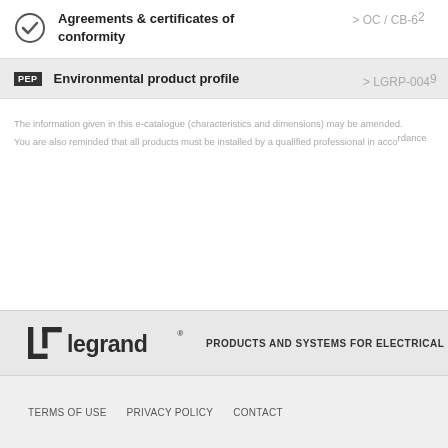Agreements & certificates of conformity
> OC / CB-62
Environmental product profile
> LGRP-0049
The information given in this e-catalogue (characteristics and dimensions) may be amended. You are also reminded that all products must be installed by a qualified professional in accordance with applicable regulations.
[Figure (logo): Legrand logo with text PRODUCTS AND SYSTEMS FOR ELECTRICAL]
TERMS OF USE   PRIVACY POLICY   CONTACT